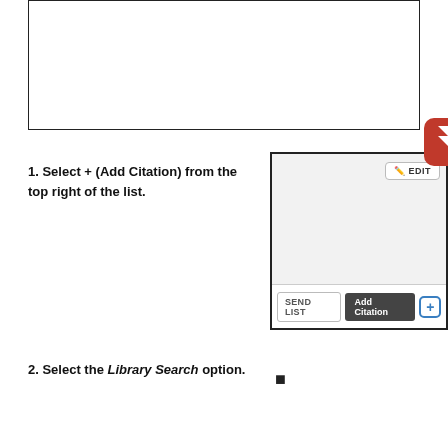[Figure (screenshot): Empty bordered box at top of page, representing a placeholder or blank content area]
1. Select + (Add Citation) from the top right of the list.
[Figure (screenshot): Screenshot of a library interface showing EDIT button at top right, a gray content area, and a bottom bar with SEND LIST button, Add Citation button, and + (plus) button. A red rounded square badge with an upward arrow icon points to the top-right corner.]
2. Select the Library Search option.